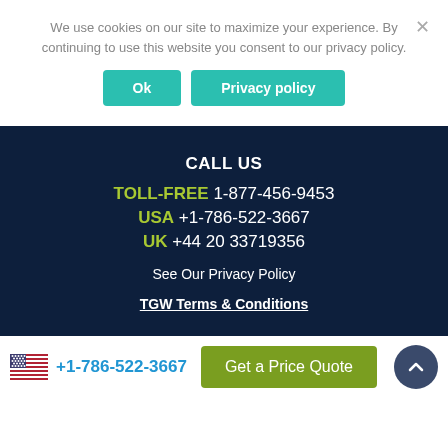We use cookies on our site to maximize your experience. By continuing to use this website you consent to our privacy policy.
OK  Privacy policy
CALL US
TOLL-FREE 1-877-456-9453
USA +1-786-522-3667
UK +44 20 33719356
See Our Privacy Policy
TGW Terms & Conditions
+1-786-522-3667
Get a Price Quote